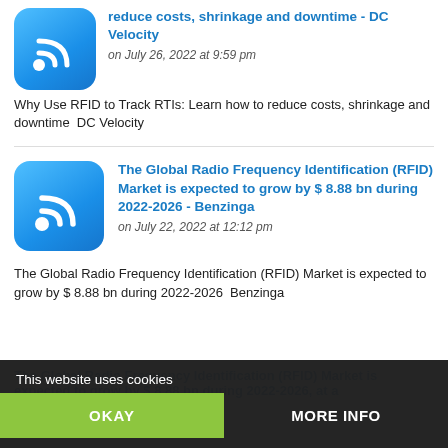reduce costs, shrinkage and downtime - DC Velocity
on July 26, 2022 at 9:59 pm
Why Use RFID to Track RTIs: Learn how to reduce costs, shrinkage and downtime  DC Velocity
The Global Radio Frequency Identification (RFID) Market is expected to grow by $ 8.88 bn during 2022-2026 - Benzinga
on July 22, 2022 at 12:12 pm
The Global Radio Frequency Identification (RFID) Market is expected to grow by $ 8.88 bn during 2022-2026  Benzinga
This website uses cookies
OKAY
MORE INFO